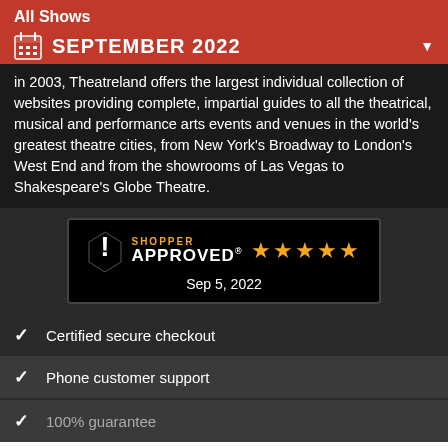All Shows
SEPTEMBER 2022
in 2003, Theatreland offers the largest individual collection of websites providing complete, impartial guides to all the theatrical, musical and performance arts events and venues in the world's greatest theatre cities, from New York's Broadway to London's West End and from the showrooms of Las Vegas to Shakespeare's Globe Theatre.
[Figure (logo): Shopper Approved badge with 5 orange stars and date Sep 5, 2022]
Certified secure checkout
Phone customer support
100% guarantee
You know the drill, websites need cookies to make them work. Details of how we do it here.
Got it!